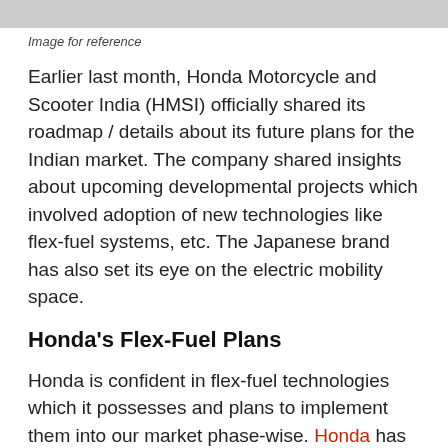[Figure (photo): Gray image placeholder bar at top of page]
Image for reference
Earlier last month, Honda Motorcycle and Scooter India (HMSI) officially shared its roadmap / details about its future plans for the Indian market. The company shared insights about upcoming developmental projects which involved adoption of new technologies like flex-fuel systems, etc. The Japanese brand has also set its eye on the electric mobility space.
Honda’s Flex-Fuel Plans
Honda is confident in flex-fuel technologies which it possesses and plans to implement them into our market phase-wise. Honda has gained a lot of experience in this field by selling flex-fuel vehicles in Brazil over the last